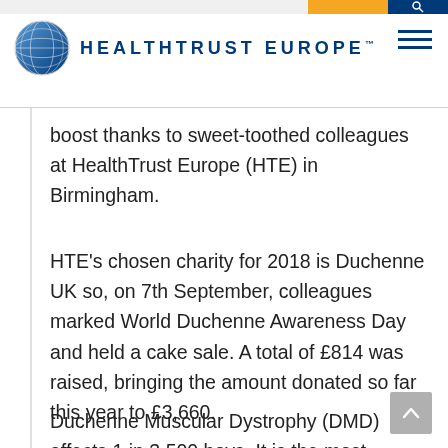HEALTHTRUST EUROPE
boost thanks to sweet-toothed colleagues at HealthTrust Europe (HTE) in Birmingham.
HTE's chosen charity for 2018 is Duchenne UK so, on 7th September, colleagues marked World Duchenne Awareness Day and held a cake sale. A total of £814 was raised, bringing the amount donated so far this year to £3,660.
Duchenne Muscular Dystrophy (DMD) affects 1 in 3,500 boys. It is the most